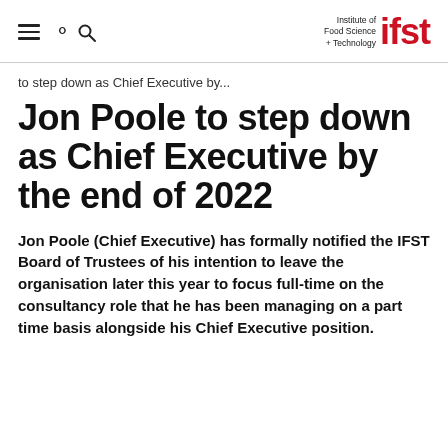Institute of Food Science + Technology ifst
to step down as Chief Executive by...
Jon Poole to step down as Chief Executive by the end of 2022
Jon Poole (Chief Executive) has formally notified the IFST Board of Trustees of his intention to leave the organisation later this year to focus full-time on the consultancy role that he has been managing on a part time basis alongside his Chief Executive position.